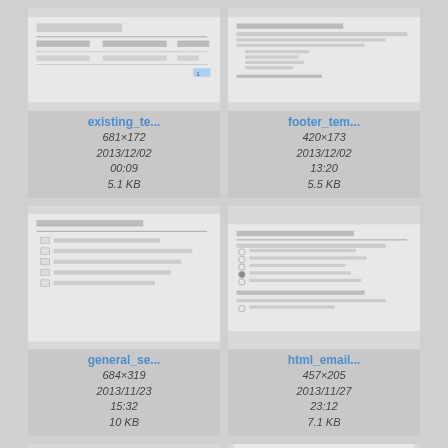[Figure (screenshot): Thumbnail of existing_te... file, showing a table/form interface]
existing_te...
681×172
2013/12/02 00:09
5.1 KB
[Figure (screenshot): Thumbnail of footer_tem... file, showing text content]
footer_tem...
420×173
2013/12/02 13:20
5.5 KB
[Figure (screenshot): Thumbnail of general_se... file, showing a settings form with checkboxes]
general_se...
684×319
2013/11/23 15:32
10 KB
[Figure (screenshot): Thumbnail of html_email... file, showing email format options with radio buttons]
html_email...
457×205
2013/11/27 23:12
7.1 KB
[Figure (other): Magnifying glass / zoom icon]
[Figure (screenshot): Thumbnail showing email confirmation settings with checkboxes]